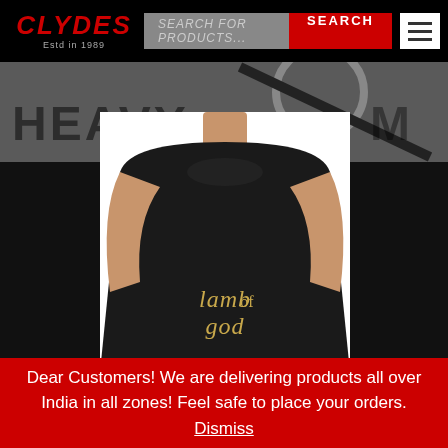[Figure (logo): Clydes logo with red horror-style text and 'Estd in 1989' subtitle on black background]
[Figure (screenshot): Search bar with grey input field saying SEARCH FOR PRODUCTS... and a red SEARCH button, plus hamburger menu icon]
[Figure (photo): Person wearing a black Lamb of God t-shirt, photo against white background, overlaid on dark background with HEAVY text]
Dear Customers! We are delivering products all over India in all zones! Feel safe to place your orders. Dismiss